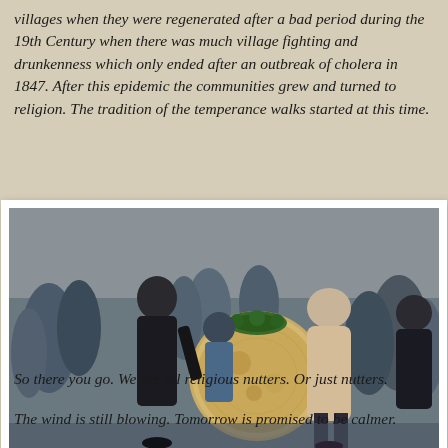villages when they were regenerated after a bad period during the 19th Century when there was much village fighting and drunkenness which only ended after an outbreak of cholera in 1847. After this epidemic the communities grew and turned to religion. The tradition of the temperance walks started at this time.
[Figure (photo): People gathered outdoors, a man in a black jacket holds a large round bodhrán drum, several other people visible including a woman in a beige coat, crowd in background]
So there you go.  We are all religious nutters.  Or just nutters.
The wind is still blowing.  Tomorrow is promised to be calmer.